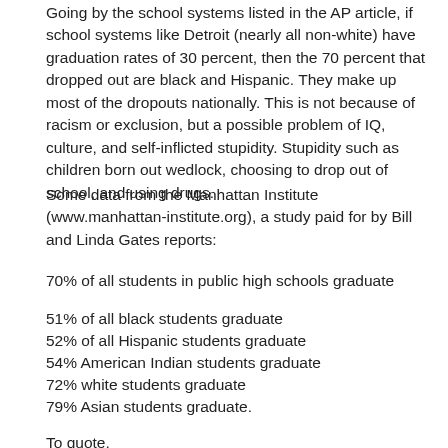Going by the school systems listed in the AP article, if school systems like Detroit (nearly all non-white) have graduation rates of 30 percent, then the 70 percent that dropped out are black and Hispanic. They make up most of the dropouts nationally. This is not because of racism or exclusion, but a possible problem of IQ, culture, and self-inflicted stupidity. Stupidity such as children born out wedlock, choosing to drop out of school, and using drugs.
Some data from the Manhattan Institute (www.manhattan-institute.org), a study paid for by Bill and Linda Gates reports:
70% of all students in public high schools graduate
51% of all black students graduate
52% of all Hispanic students graduate
54% American Indian students graduate
72% white students graduate
79% Asian students graduate.
To quote,